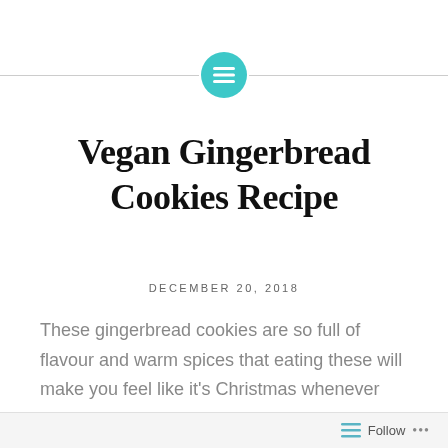[Figure (logo): Teal circle icon with horizontal lines (menu/list icon) centered between two horizontal rules]
Vegan Gingerbread Cookies Recipe
DECEMBER 20, 2018
These gingerbread cookies are so full of flavour and warm spices that eating these will make you feel like it's Christmas whenever you make them. Plus, the addition of orange zest is a nice surprise. Did I mention these are vegan too?
Follow ...